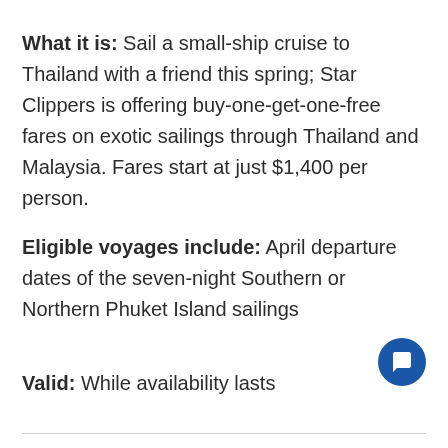What it is: Sail a small-ship cruise to Thailand with a friend this spring; Star Clippers is offering buy-one-get-one-free fares on exotic sailings through Thailand and Malaysia. Fares start at just $1,400 per person.
Eligible voyages include: April departure dates of the seven-night Southern or Northern Phuket Island sailings
Valid: While availability lasts